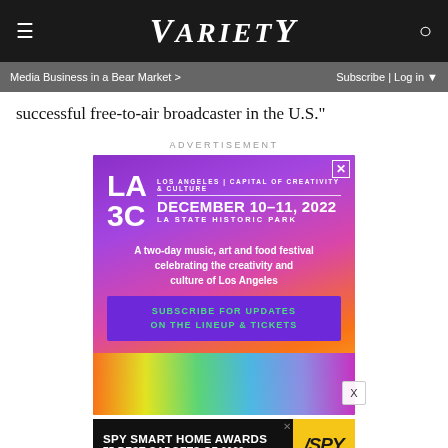Variety
Media Business in a Bear Market > Subscribe | Log in
successful free-to-air broadcaster in the U.S."
ADVERTISEMENT
[Figure (photo): LA3C festival advertisement: December 10-11, 2022, LA State Historic Park. A two-day music, art and food festival celebrating the creativity and culture of Los Angeles. Subscribe for updates on the lineup & tickets.]
[Figure (photo): SPY Smart Home Awards advertisement: 75 Best Gadgets of 2022]